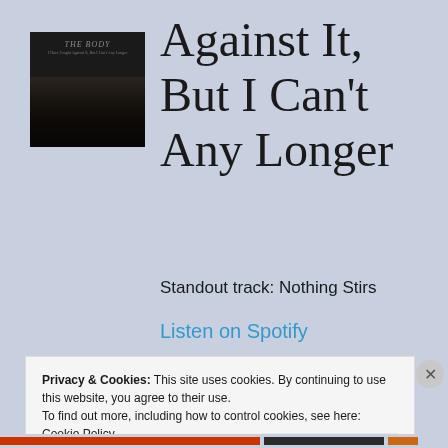[Figure (illustration): Album art for 'The Body' - dark background with text 'THE BODY' in styled lettering and a dark atmospheric landscape image below]
Against It, But I Can't Any Longer
Standout track: Nothing Stirs
Listen on Spotify
Privacy & Cookies: This site uses cookies. By continuing to use this website, you agree to their use.
To find out more, including how to control cookies, see here:
Cookie Policy
Close and accept